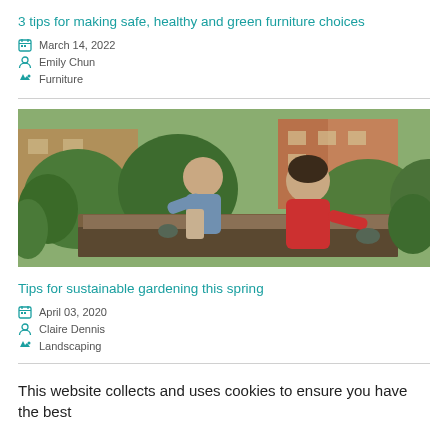3 tips for making safe, healthy and green furniture choices
March 14, 2022
Emily Chun
Furniture
[Figure (photo): Two people gardening together in a lush backyard garden with raised beds and green plants. One person wears a red shirt and gloves, the other wears a blue shirt. Brick house visible in background.]
Tips for sustainable gardening this spring
April 03, 2020
Claire Dennis
Landscaping
This website collects and uses cookies to ensure you have the best